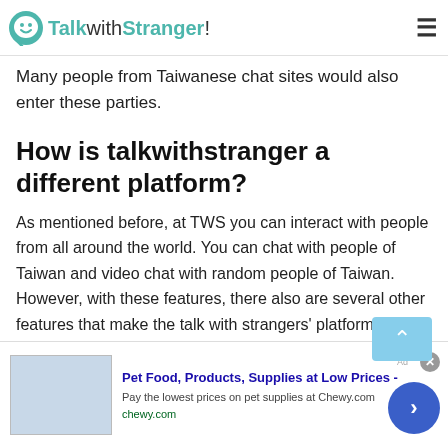TalkwithStranger!
Many people from Taiwanese chat sites would also enter these parties.
How is talkwithstranger a different platform?
As mentioned before, at TWS you can interact with people from all around the world. You can chat with people of Taiwan and video chat with random people of Taiwan. However, with these features, there also are several other features that make the talk with strangers' platform a unique and different platform
[Figure (screenshot): Advertisement banner: Pet Food, Products, Supplies at Low Prices - Pay the lowest prices on pet supplies at Chewy.com. chewy.com]